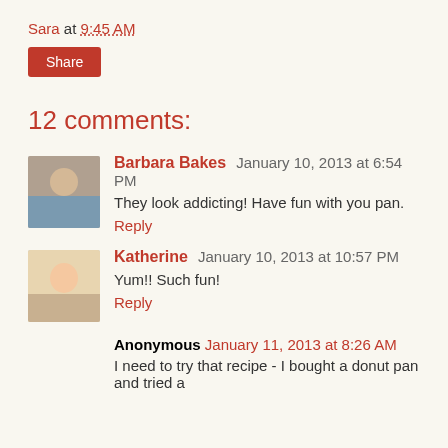Sara at 9:45 AM
Share
12 comments:
Barbara Bakes  January 10, 2013 at 6:54 PM
They look addicting! Have fun with you pan.
Reply
Katherine  January 10, 2013 at 10:57 PM
Yum!! Such fun!
Reply
Anonymous  January 11, 2013 at 8:26 AM
I need to try that recipe - I bought a donut pan and tried a